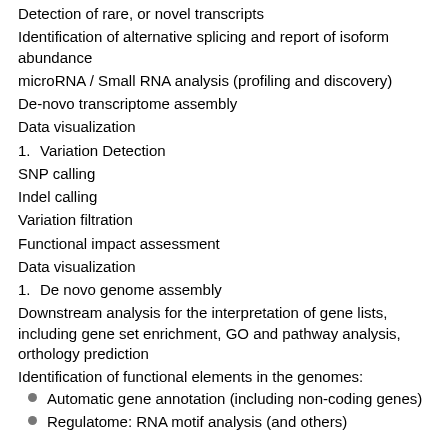Detection of rare, or novel transcripts
Identification of alternative splicing and report of isoform abundance
microRNA / Small RNA analysis (profiling and discovery)
De-novo transcriptome assembly
Data visualization
1. Variation Detection
SNP calling
Indel calling
Variation filtration
Functional impact assessment
Data visualization
1. De novo genome assembly
Downstream analysis for the interpretation of gene lists, including gene set enrichment, GO and pathway analysis, orthology prediction
Identification of functional elements in the genomes:
Automatic gene annotation (including non-coding genes)
Regulatome: RNA motif analysis (and others)